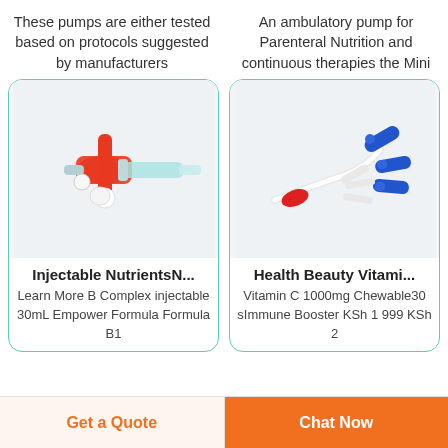These pumps are either tested based on protocols suggested by manufacturers
An ambulatory pump for Parenteral Nutrition and continuous therapies the Mini
[Figure (photo): Medical IV connector/stopcock device with red and light blue components on white background]
[Figure (photo): Medical IV catheter/connector pieces in white, red, and blue on white background]
Injectable NutrientsN...
Learn More B Complex injectable 30mL Empower Formula Formula B1
Health Beauty Vitami...
Vitamin C 1000mg Chewable30 sImmune Booster KSh 1 999 KSh 2
Get a Quote
Chat Now